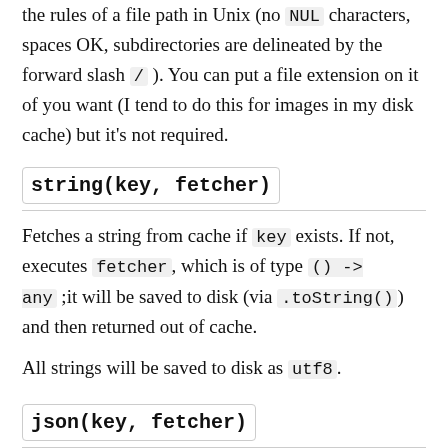the rules of a file path in Unix (no `NUL` characters, spaces OK, subdirectories are delineated by the forward slash / ). You can put a file extension on it of you want (I tend to do this for images in my disk cache) but it's not required.
string(key, fetcher)
Fetches a string from cache if `key` exists. If not, executes `fetcher`, which is of type `() -> any`; it will be saved to disk (via `.toString()`) and then returned out of cache.
All strings will be saved to disk as `utf8`.
json(key, fetcher)
As per `string`, but `fetcher` is of type `() -> any`, and will be stringified via JSON.stringify